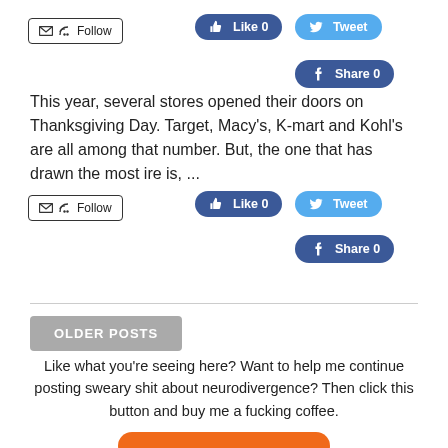[Figure (screenshot): Follow button with email and RSS icons, Like 0 button (Facebook blue), Tweet button (Twitter blue)]
This year, several stores opened their doors on Thanksgiving Day. Target, Macy's, K-mart and Kohl's are all among that number. But, the one that has drawn the most ire is, ...
[Figure (screenshot): Second set of Follow, Like 0, Tweet, Share 0 social buttons]
OLDER POSTS
Like what you're seeing here? Want to help me continue posting sweary shit about neurodivergence? Then click this button and buy me a fucking coffee.